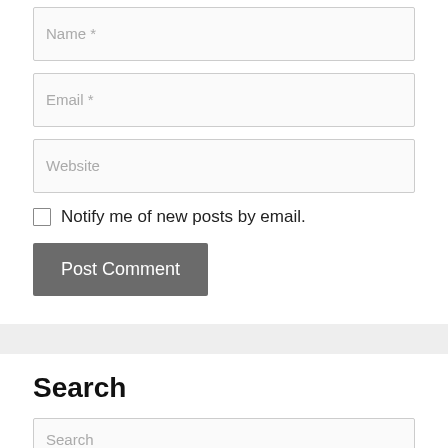Name *
Email *
Website
Notify me of new posts by email.
Post Comment
Search
Search